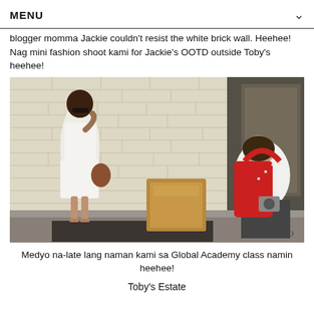MENU
blogger momma Jackie couldn't resist the white brick wall. Heehee! Nag mini fashion shoot kami for Jackie's OOTD outside Toby's heehee!
[Figure (photo): A woman in a white outfit posing against a white brick wall outside a shop, while another person with a red bag photographs her.]
Medyo na-late lang naman kami sa Global Academy class namin heehee!
Toby's Estate